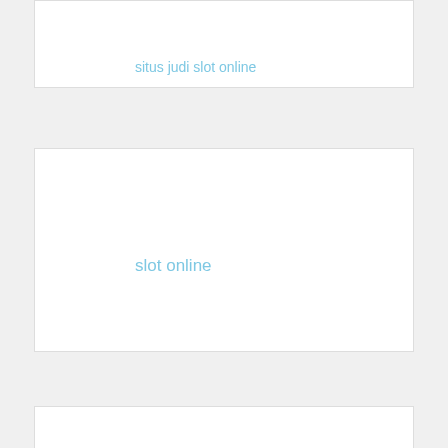slot online
Plumber Marrickville
카지 노사이트